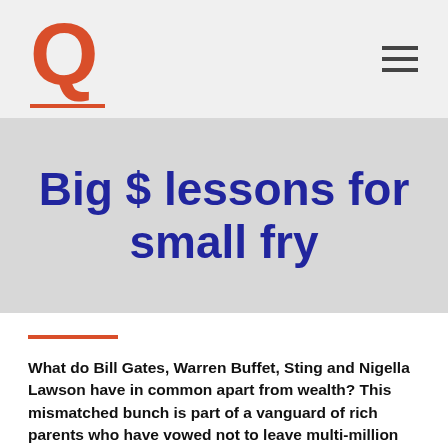Q
Big $ lessons for small fry
What do Bill Gates, Warren Buffet, Sting and Nigella Lawson have in common apart from wealth? This mismatched bunch is part of a vanguard of rich parents who have vowed not to leave multi-million dollar legacies to their children.